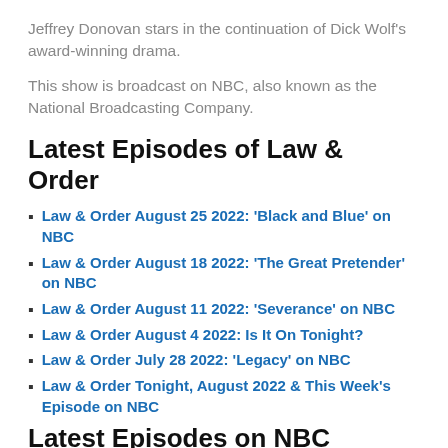Jeffrey Donovan stars in the continuation of Dick Wolf's award-winning drama.
This show is broadcast on NBC, also known as the National Broadcasting Company.
Latest Episodes of Law & Order
Law & Order August 25 2022: 'Black and Blue' on NBC
Law & Order August 18 2022: 'The Great Pretender' on NBC
Law & Order August 11 2022: 'Severance' on NBC
Law & Order August 4 2022: Is It On Tonight?
Law & Order July 28 2022: 'Legacy' on NBC
Law & Order Tonight, August 2022 & This Week's Episode on NBC
Latest Episodes on NBC
America's Got Talent August 23 2022: